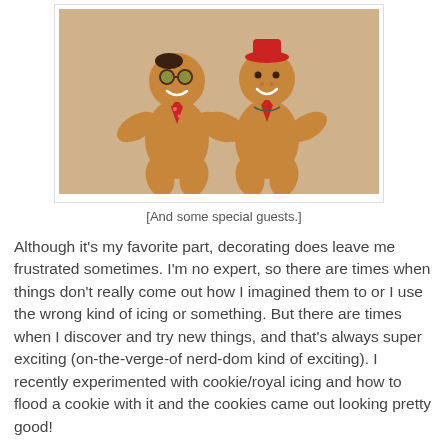[Figure (photo): Two decorated gingerbread cookies shaped like people on a beige surface. The left one wears glasses and a red tie, the right one wears a red hat and a red tie.]
[And some special guests.]
Although it's my favorite part, decorating does leave me frustrated sometimes. I'm no expert, so there are times when things don't really come out how I imagined them to or I use the wrong kind of icing or something. But there are times when I discover and try new things, and that's always super exciting (on-the-verge-of nerd-dom kind of exciting). I recently experimented with cookie/royal icing and how to flood a cookie with it and the cookies came out looking pretty good!
[Figure (photo): Bottom of another photo partially visible, showing a warm brown cookie or baked good background.]